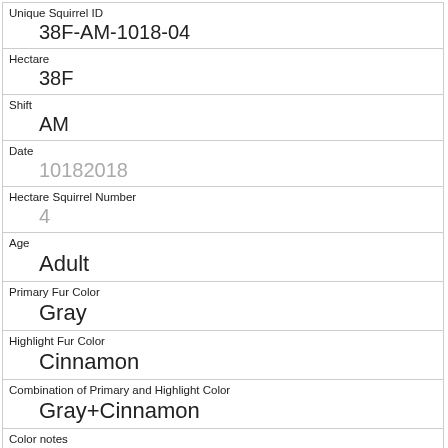| Field | Value |
| --- | --- |
| Unique Squirrel ID | 38F-AM-1018-04 |
| Hectare | 38F |
| Shift | AM |
| Date | 10182018 |
| Hectare Squirrel Number | 4 |
| Age | Adult |
| Primary Fur Color | Gray |
| Highlight Fur Color | Cinnamon |
| Combination of Primary and Highlight Color | Gray+Cinnamon |
| Color notes |  |